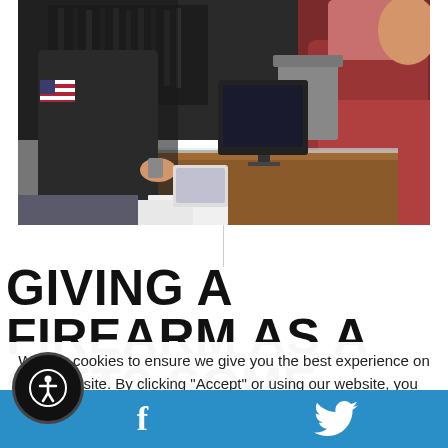[Figure (photo): Two people at a gun store counter — a person in a dark hoodie on the left and a person in a maroon/burgundy top on the right, with firearms displayed in the background and a wooden counter with a computer monitor between them.]
GIVING A FIREARM AS A GIFT? SOME REMINDERS
We use cookies to ensure we give you the best experience on our website. By clicking "Accept" or using our website, you consent to the use of cookies unless you have disabled them.